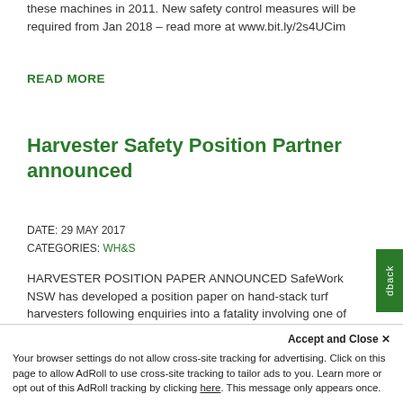these machines in 2011. New safety control measures will be required from Jan 2018 – read more at www.bit.ly/2s4UCim
READ MORE
Harvester Safety Position Partner announced
DATE: 29 MAY 2017
CATEGORIES: WH&S
HARVESTER POSITION PAPER ANNOUNCED SafeWork NSW has developed a position paper on hand-stack turf harvesters following enquiries into a fatality involving one of these machines in 2014. New safety control measures will be required from Jan 2018 – read more at www.bit.ly/2s4UCim &nbs
READ MORE
Accept and Close ✕
Your browser settings do not allow cross-site tracking for advertising. Click on this page to allow AdRoll to use cross-site tracking to tailor ads to you. Learn more or opt out of this AdRoll tracking by clicking here. This message only appears once.